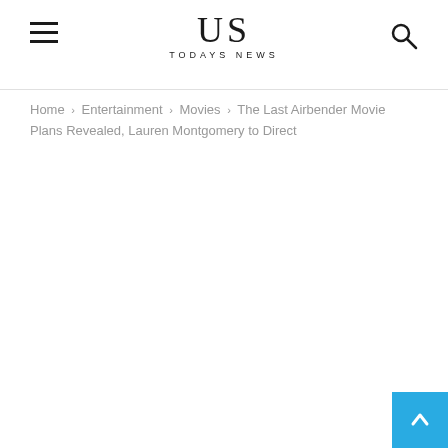US TODAYS NEWS
Home › Entertainment › Movies › The Last Airbender Movie Plans Revealed, Lauren Montgomery to Direct